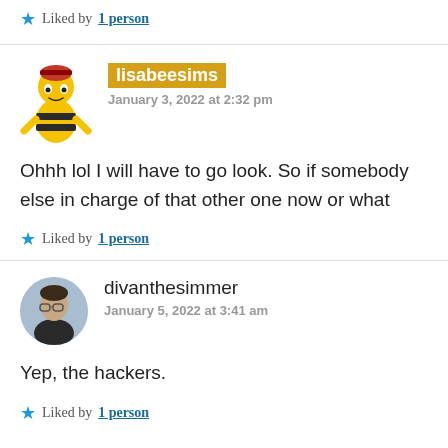Liked by 1 person
lisabeesims
January 3, 2022 at 2:32 pm
Ohhh lol I will have to go look. So if somebody else in charge of that other one now or what
Liked by 1 person
divanthesimmer
January 5, 2022 at 3:41 am
Yep, the hackers.
Liked by 1 person